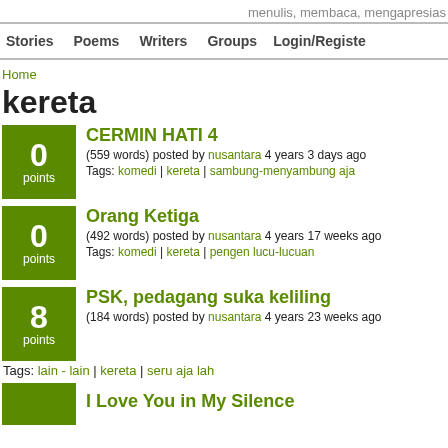menulis, membaca, mengapresias
Stories | Poems | Writers | Groups | Login/Register
Home
kereta
CERMIN HATI 4
(559 words) posted by nusantara 4 years 3 days ago
Tags: komedi | kereta | sambung-menyambung aja
Orang Ketiga
(492 words) posted by nusantara 4 years 17 weeks ago
Tags: komedi | kereta | pengen lucu-lucuan
PSK, pedagang suka keliling
(184 words) posted by nusantara 4 years 23 weeks ago
Tags: lain - lain | kereta | seru aja lah
I Love You in My Silence